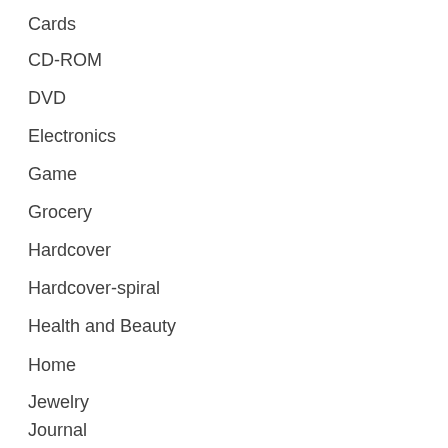Cards
CD-ROM
DVD
Electronics
Game
Grocery
Hardcover
Hardcover-spiral
Health and Beauty
Home
Jewelry
Journal